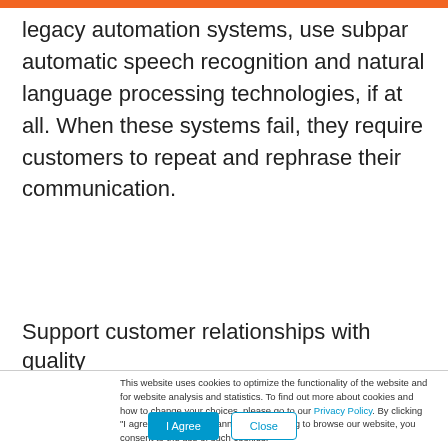legacy automation systems, use subpar automatic speech recognition and natural language processing technologies, if at all. When these systems fail, they require customers to repeat and rephrase their communication.
Support customer relationships with quality
This website uses cookies to optimize the functionality of the website and for website analysis and statistics. To find out more about cookies and how to change your choices, please go to our Privacy Policy. By clicking "I agree", closing this banner, or continuing to browse our website, you consent to the use of such cookies.